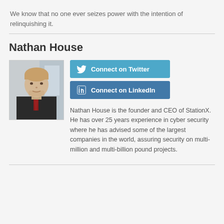We know that no one ever seizes power with the intention of relinquishing it.
Nathan House
[Figure (photo): Headshot photo of Nathan House, a man in a dark suit with a red tie]
[Figure (infographic): Two social media buttons: 'Connect on Twitter' (blue) and 'Connect on LinkedIn' (dark blue)]
Nathan House is the founder and CEO of StationX. He has over 25 years experience in cyber security where he has advised some of the largest companies in the world, assuring security on multi-million and multi-billion pound projects.